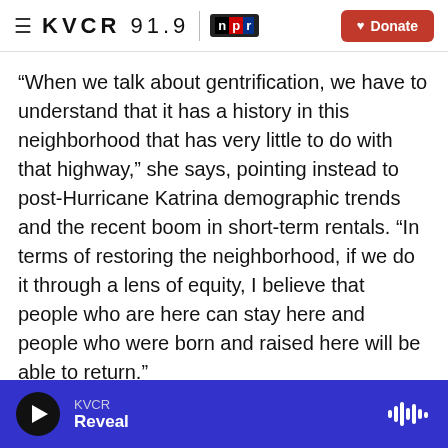≡ KVCR 91.9 npr [Donate]
“When we talk about gentrification, we have to understand that it has a history in this neighborhood that has very little to do with that highway,” she says, pointing instead to post-Hurricane Katrina demographic trends and the recent boom in short-term rentals. “In terms of restoring the neighborhood, if we do it through a lens of equity, I believe that people who are here can stay here and people who were born and raised here will be able to return.”
Stelly is the third generation of her family to live in her house. She’s confident that she won’t be the
KVCR | Reveal